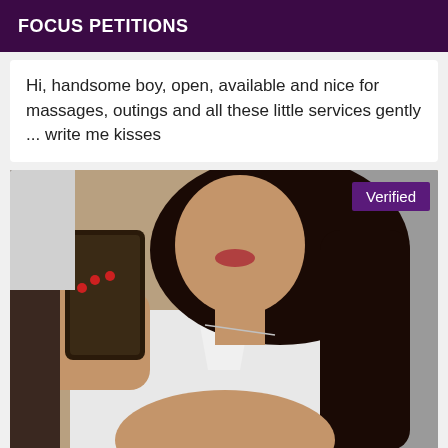FOCUS PETITIONS
Hi, handsome boy, open, available and nice for massages, outings and all these little services gently ... write me kisses
[Figure (photo): A young woman in a white shirt taking a mirror selfie with long dark hair, with a purple 'Verified' badge in the top right corner]